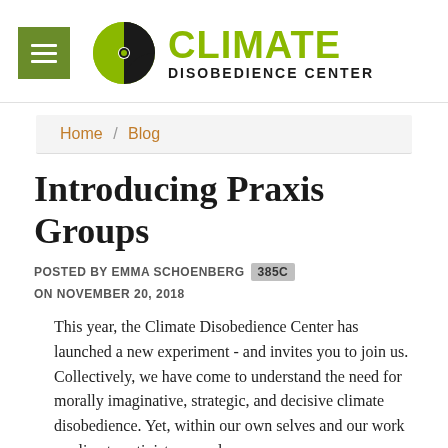Climate Disobedience Center
Home / Blog
Introducing Praxis Groups
POSTED BY EMMA SCHOENBERG 385C ON NOVEMBER 20, 2018
This year, the Climate Disobedience Center has launched a new experiment - and invites you to join us. Collectively, we have come to understand the need for morally imaginative, strategic, and decisive climate disobedience. Yet, within our own selves and our work as climate activists - we also